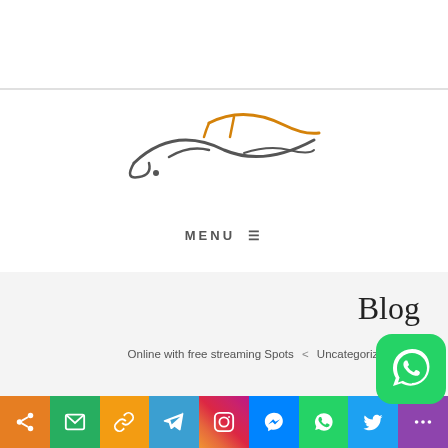[Figure (logo): Arabic calligraphy logo in orange and grey colors]
MENU ☰
Blog
Online with free streaming Spots < Uncategorized < 🏠
Online with free streaming Sp
[Figure (infographic): Social sharing bar with icons: share, email, link, Telegram, Instagram, Messenger, WhatsApp, Twitter, and more]
[Figure (logo): WhatsApp floating button icon]